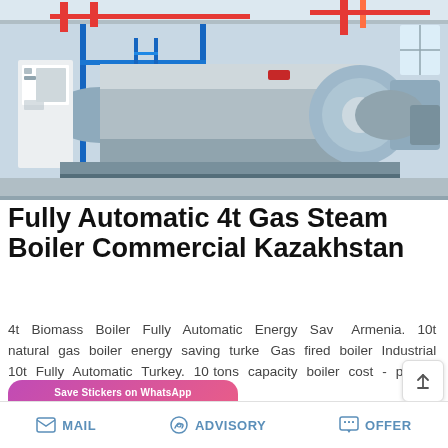[Figure (photo): Industrial gas steam boiler equipment in a factory/warehouse setting. A large horizontal cylindrical blue boiler with red and orange pipework, metal ladder, and smaller equipment units visible in the background.]
Fully Automatic 4t Gas Steam Boiler Commercial Kazakhstan
4t Biomass Boiler Fully Automatic Energy Saving Armenia. 10t natural gas boiler energy saving turkey. Gas fired boiler Industrial 10t Fully Automatic Turkey. 10 tons capacity boiler cost - peking-garden-alzena…
[Figure (screenshot): WhatsApp sticker saver app promo banner with purple-to-pink gradient background, text 'Save Stickers on WhatsApp', and two circular app icons (green WhatsApp phone icon and pink ghost/emoji icon).]
MAIL   ADVISORY   OFFER